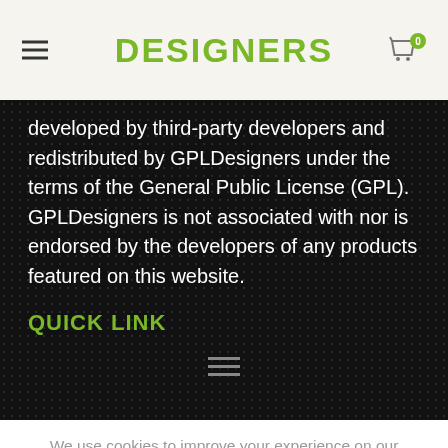DESIGNERS
developed by third-party developers and redistributed by GPLDesigners under the terms of the General Public License (GPL). GPLDesigners is not associated with nor is endorsed by the developers of any products featured on this website.
QUICK LINK
We use cookies to improve your experience on our website. By browsing this website, you agree to our use of cookies.
MORE INFO  ACCEPT